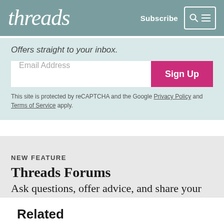threads  Subscribe
Offers straight to your inbox.
Email Address  Sign Up
This site is protected by reCAPTCHA and the Google Privacy Policy and Terms of Service apply.
NEW FEATURE
Threads Forums
Ask questions, offer advice, and share your work
Related